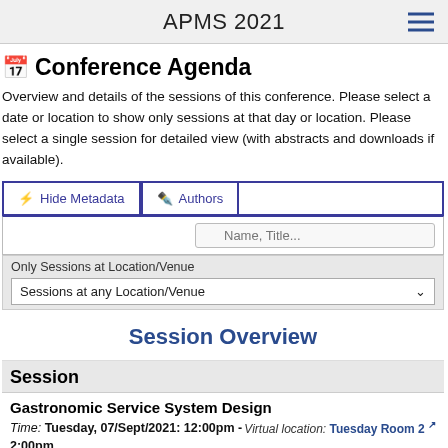APMS 2021
Conference Agenda
Overview and details of the sessions of this conference. Please select a date or location to show only sessions at that day or location. Please select a single session for detailed view (with abstracts and downloads if available).
Hide Metadata
Authors
Only Sessions at Location/Venue
Sessions at any Location/Venue
Session Overview
Session
Gastronomic Service System Design
Time: Tuesday, 07/Sept/2021: 12:00pm - 2:00pm
Virtual location: Tuesday Room 2
Session Chair: Tomomi Nonaka
Session Chair: Nobutada Fujii